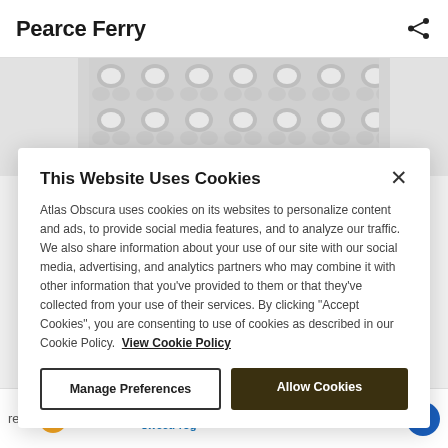Pearce Ferry
[Figure (illustration): Decorative background pattern area with repeating rounded shapes on gray background, visible behind page header region]
This Website Uses Cookies
Atlas Obscura uses cookies on its websites to personalize content and ads, to provide social media features, and to analyze our traffic. We also share information about your use of our site with our social media, advertising, and analytics partners who may combine it with other information that you've provided to them or that they've collected from your use of their services. By clicking "Accept Cookies", you are consenting to use of cookies as described in our Cookie Policy. View Cookie Policy
Manage Preferences
Allow Cookies
Caramel Apple Pie Swirl – Yum sweetFrog